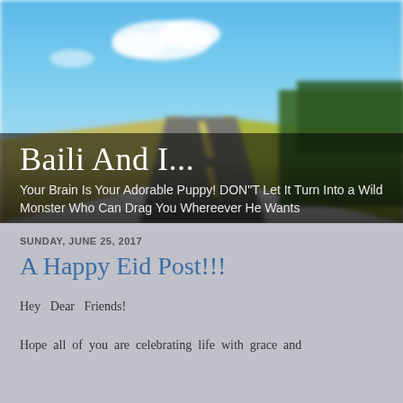[Figure (photo): A blurred landscape photo showing a road stretching into the distance under a bright blue sky with white clouds, green trees on the right side, and open fields on either side of the road.]
Baili And I...
Your Brain Is Your Adorable Puppy! DON"T Let It Turn Into a Wild Monster Who Can Drag You Whereever He Wants
SUNDAY, JUNE 25, 2017
A Happy Eid Post!!!
Hey  Dear  Friends!
Hope all of you are celebrating life with grace and